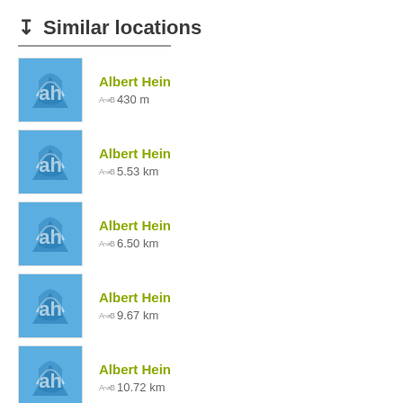↧ Similar locations
Albert Hein
430 m
Albert Hein
5.53 km
Albert Hein
6.50 km
Albert Hein
9.67 km
Albert Hein
10.72 km
Albert Hein
10.81 km